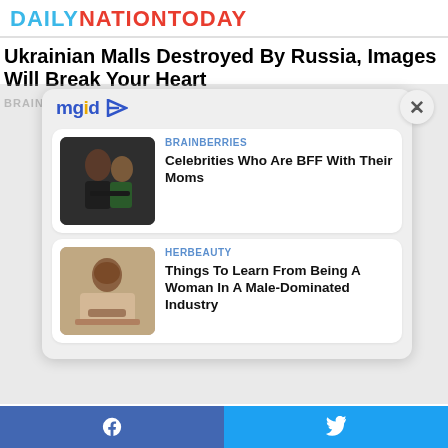DAILYNATIONTODAY
Ukrainian Malls Destroyed By Russia, Images Will Break Your Heart
BRAINBERRIES
[Figure (screenshot): mgid content widget overlay with close button (×), showing two article cards]
BRAINBERRIES
Celebrities Who Are BFF With Their Moms
HERBEAUTY
Things To Learn From Being A Woman In A Male-Dominated Industry
Facebook share | Twitter share